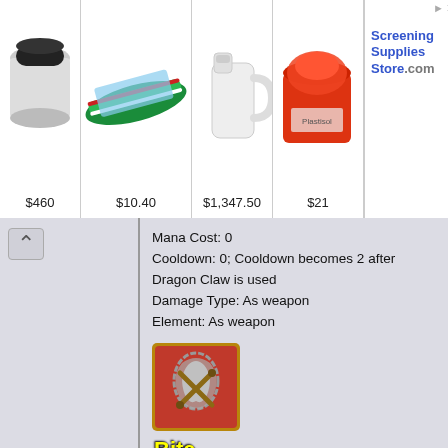[Figure (screenshot): Advertisement banner with 4 product images showing screening supplies. Products priced at $460, $10.40, $1,347.50, $21. Brand: Screening Supplies Store.com]
Mana Cost: 0
Cooldown: 0; Cooldown becomes 2 after Dragon Claw is used
Damage Type: As weapon
Element: As weapon
[Figure (illustration): Game skill icon for 'Bite' - a red bordered square with a twisting grey metallic tornado/claw shape with crossed swords, on a red background.]
Bite
Appearance 1 / 1.1 / 1.2
[Figure (illustration): Two game icons side by side: a glowing teal/cyan orb (energy ball) and a golden dragon claw emblem with a red jewel center. Next to them: 'Dragon Claw' label.]
Dragon Claw
Triple strike!
Level/Quest/Skill/Items required: Successful 'Dragon Bite' where the last hit connects to unlock
Effect: 3 hits of 100% damage, totalling 300% damage: